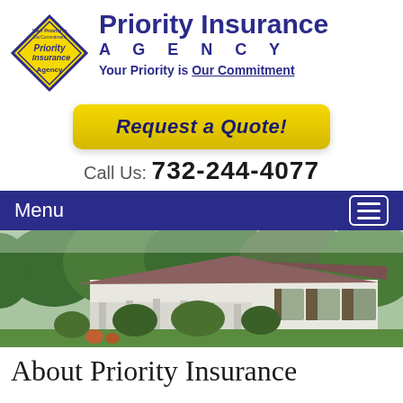[Figure (logo): Priority Insurance Agency diamond-shaped logo with blue outline, yellow fill, and company name in blue text]
Priority Insurance AGENCY
Your Priority is Our Commitment
Request a Quote!
Call Us: 732-244-4077
Menu
[Figure (photo): Photograph of a white colonial-style house with a brown roof surrounded by green trees and landscaping]
About Priority Insurance